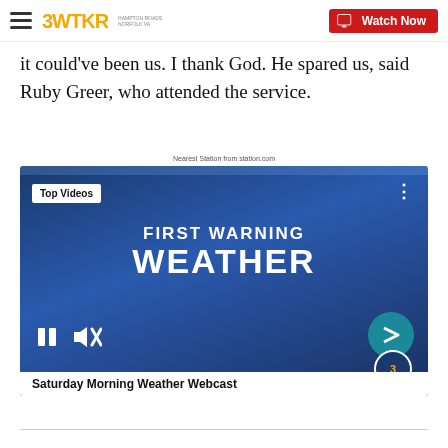3WTKR | Watch Now
it could've been us. I thank God. He spared us, said Ruby Greer, who attended the service.
[Figure (screenshot): Video player showing 'First Warning Weather' with 'Top Videos' badge, playback controls, and 'Saturday Morning Weather Webcast' caption bar at bottom.]